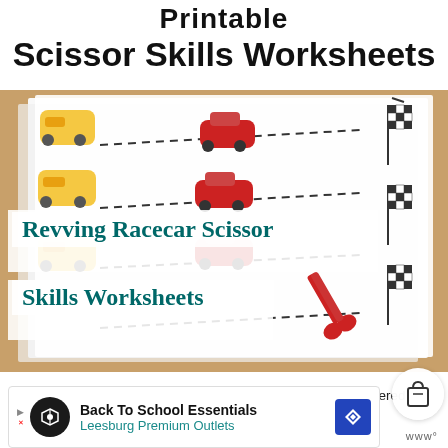Printable Scissor Skills Worksheets
[Figure (photo): Photo of printed scissor skills worksheets showing racecar images along dashed cutting lines, with a red pair of scissors cutting one of the lines. Colorful construction vehicle and racecar stickers visible on the sheets, along with checkered flag decorations.]
Revving Racecar Scissor Skills Worksheets
Early learners can practice getting each racecar to the checkered flag with these cutting workshe...
[Figure (other): Advertisement banner: Back To School Essentials - Leesburg Premium Outlets]